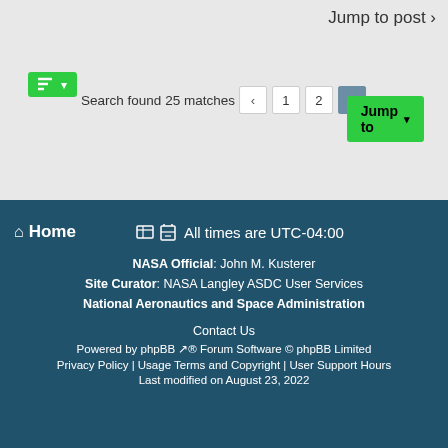Jump to post ›
[Figure (screenshot): Green sort button with lines icon and dropdown arrow]
Search found 25 matches
[Figure (screenshot): Pagination: previous arrow, pages 1, 2, 3 (active)]
[Figure (screenshot): Green 'Jump to' dropdown button]
Home | All times are UTC-04:00 | NASA Official: John M. Kusterer | Site Curator: NASA Langley ASDC User Services | National Aeronautics and Space Administration | Contact Us | Powered by phpBB ® Forum Software © phpBB Limited | Privacy Policy | Usage Terms and Copyright | User Support Hours | Last modified on August 23, 2022